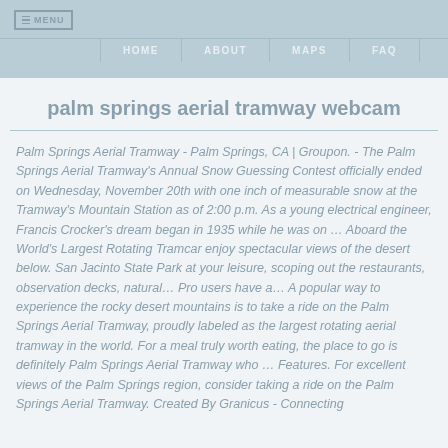MENU | HOME | ABOUT | MAPS | FAQ
palm springs aerial tramway webcam
Palm Springs Aerial Tramway - Palm Springs, CA | Groupon. - The Palm Springs Aerial Tramway's Annual Snow Guessing Contest officially ended on Wednesday, November 20th with one inch of measurable snow at the Tramway's Mountain Station as of 2:00 p.m. As a young electrical engineer, Francis Crocker's dream began in 1935 while he was on ... Aboard the World's Largest Rotating Tramcar enjoy spectacular views of the desert below. San Jacinto State Park at your leisure, scoping out the restaurants, observation decks, natural... Pro users have a... A popular way to experience the rocky desert mountains is to take a ride on the Palm Springs Aerial Tramway, proudly labeled as the largest rotating aerial tramway in the world. For a meal truly worth eating, the place to go is definitely Palm Springs Aerial Tramway who ... Features. For excellent views of the Palm Springs region, consider taking a ride on the Palm Springs Aerial Tramway. Created By Granicus - Connecting